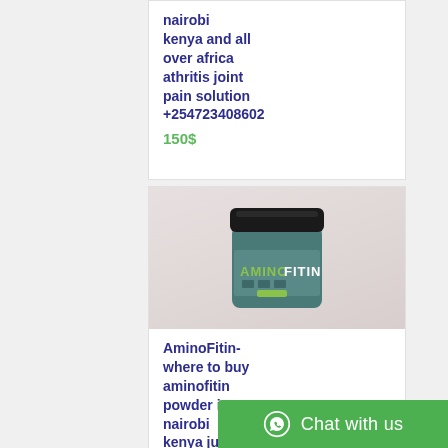nairobi kenya and all over africa athritis joint pain solution +254723408602
150$
[Figure (photo): AminoFitin product jar — dark teal/green cylindrical supplement container with black lid, label reads AMINOFITIN with green and white text and icons]
AminoFitin- where to buy aminofitin powder in nairobi kenya juba sudan kampala